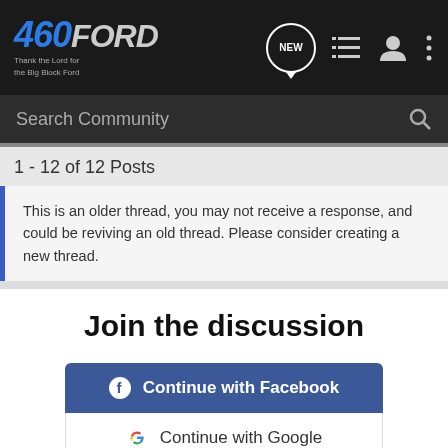460FORD - Thank the Lord for the Big Block Ford - navigation bar with NEW, list, user, menu icons
Search Community
1 - 12 of 12 Posts
This is an older thread, you may not receive a response, and could be reviving an old thread. Please consider creating a new thread.
Join the discussion
Continue with Facebook
Continue with Google
[Figure (photo): Advertisement banner showing blue background with engine parts or similar auto components]